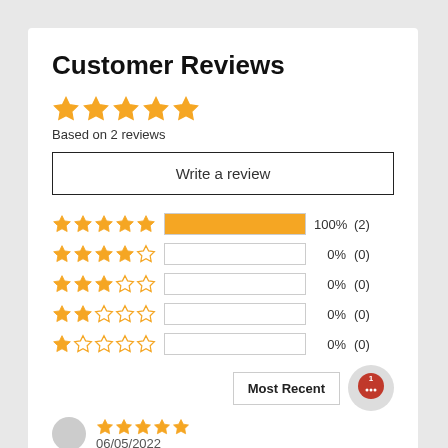Customer Reviews
[Figure (infographic): 5 gold stars rating display]
Based on 2 reviews
Write a review
[Figure (bar-chart): Rating breakdown]
Most Recent
06/05/2022